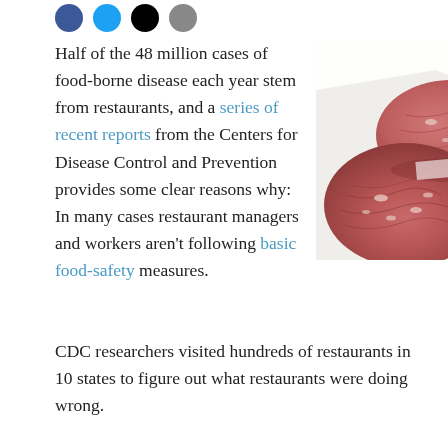[Figure (other): Four social media icon circles (Facebook blue, Twitter light blue, black, gray) partially visible at top]
Half of the 48 million cases of food-borne disease each year stem from restaurants, and a series of recent reports from the Centers for Disease Control and Prevention provides some clear reasons why: In many cases restaurant managers and workers aren't following basic food-safety measures.
[Figure (photo): Close-up photograph of raw ground beef patties wrapped in white butcher paper]
CDC researchers visited hundreds of restaurants in 10 states to figure out what restaurants were doing wrong.